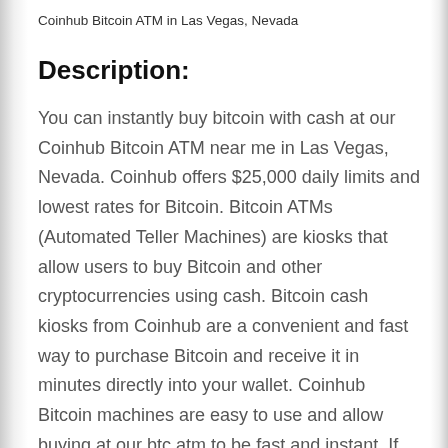Coinhub Bitcoin ATM in Las Vegas, Nevada
Description:
You can instantly buy bitcoin with cash at our Coinhub Bitcoin ATM near me in Las Vegas, Nevada. Coinhub offers $25,000 daily limits and lowest rates for Bitcoin. Bitcoin ATMs (Automated Teller Machines) are kiosks that allow users to buy Bitcoin and other cryptocurrencies using cash. Bitcoin cash kiosks from Coinhub are a convenient and fast way to purchase Bitcoin and receive it in minutes directly into your wallet. Coinhub Bitcoin machines are easy to use and allow buying at our btc atm to be fast and instant. If you're using a Coinhub Bitcoin Machine near me, you are able to purchase Bitcoin instantly and receive it within minutes. You can purchase Bitcoin in less than 3 minutes, and you don't need an account. To